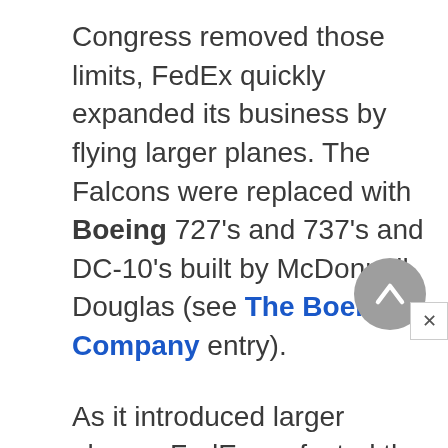Congress removed those limits, FedEx quickly expanded its business by flying larger planes. The Falcons were replaced with Boeing 727's and 737's and DC-10's built by McDonnell Douglas (see The Boeing Company entry).
As it introduced larger planes, FedEx perfected the hub-and-spoke system. It replaced leased trucks with its own fleet and ran a precise operation to guarantee delivery by noon the next